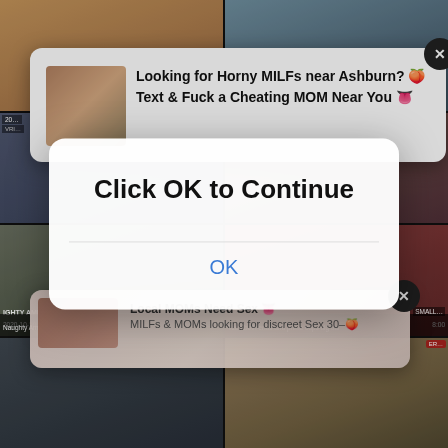[Figure (screenshot): Grid of video thumbnails from adult content website, 2 columns x 4 rows, showing various video previews with dates 2020-10-10 and durations]
Looking for Horny MILFs near Ashburn? 🍑 Text & Fuck a Cheating MOM Near You 👅
Local MOMs Need Sex 👅 MILFs & MOMs looking for discreet Sex 30–🍑
Click OK to Continue
OK
Naughty America - Lilian Stone drains
Teen both ends and prime cups big tits
2020-10-10
13:29
2020-10-10
8:00